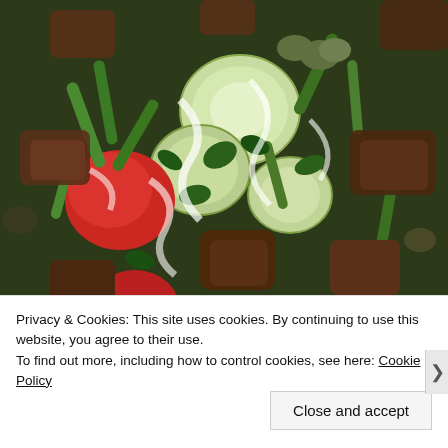[Figure (photo): Close-up overhead photo of a salad with cucumber slices, green snap peas, tomatoes, dark bread croutons, herbs (parsley, dill), olives, and white dressing/sauce drizzled over the top.]
Privacy & Cookies: This site uses cookies. By continuing to use this website, you agree to their use.
To find out more, including how to control cookies, see here: Cookie Policy
Close and accept